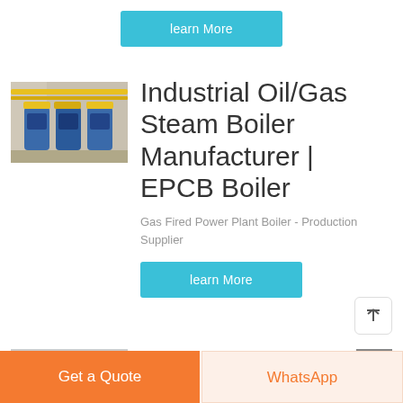learn More
[Figure (photo): Industrial boiler room with yellow-painted pipes and blue boiler units]
Industrial Oil/Gas Steam Boiler Manufacturer | EPCB Boiler
Gas Fired Power Plant Boiler - Production Supplier
learn More
Get a Quote
WhatsApp